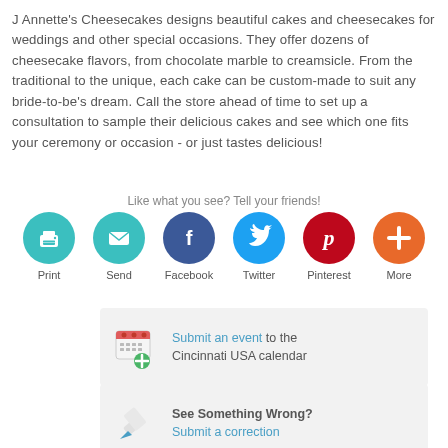J Annette's Cheesecakes designs beautiful cakes and cheesecakes for weddings and other special occasions. They offer dozens of cheesecake flavors, from chocolate marble to creamsicle. From the traditional to the unique, each cake can be custom-made to suit any bride-to-be's dream. Call the store ahead of time to set up a consultation to sample their delicious cakes and see which one fits your ceremony or occasion - or just tastes delicious!
Like what you see? Tell your friends!
[Figure (infographic): Row of six social sharing icons: Print (teal), Send/Email (teal), Facebook (dark blue), Twitter (light blue), Pinterest (red), More (orange), each with a label below.]
[Figure (infographic): Submit an event to the Cincinnati USA calendar - calendar icon with green plus button]
[Figure (infographic): See Something Wrong? Submit a correction - pencil/eraser icon]